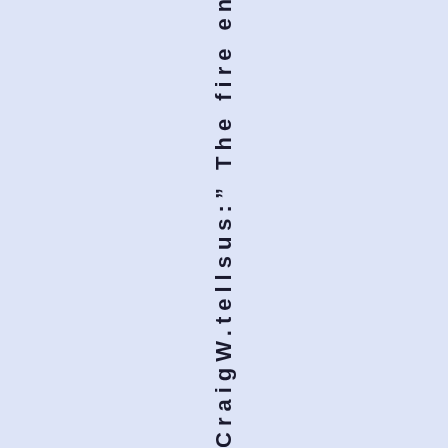CraigW.tellsus:," The fire engine i